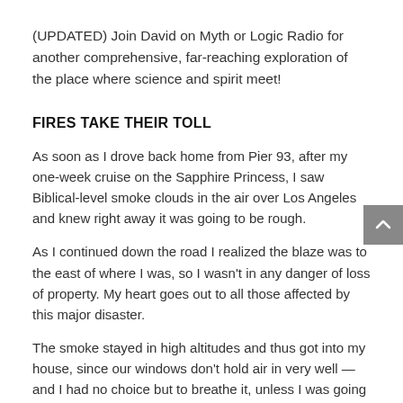(UPDATED) Join David on Myth or Logic Radio for another comprehensive, far-reaching exploration of the place where science and spirit meet!
FIRES TAKE THEIR TOLL
As soon as I drove back home from Pier 93, after my one-week cruise on the Sapphire Princess, I saw Biblical-level smoke clouds in the air over Los Angeles and knew right away it was going to be rough.
As I continued down the road I realized the blaze was to the east of where I was, so I wasn't in any danger of loss of property. My heart goes out to all those affected by this major disaster.
The smoke stayed in high altitudes and thus got into my house, since our windows don't hold air in very well — and I had no choice but to breathe it, unless I was going to evacuate. The toxicity got me into a state of illness by the